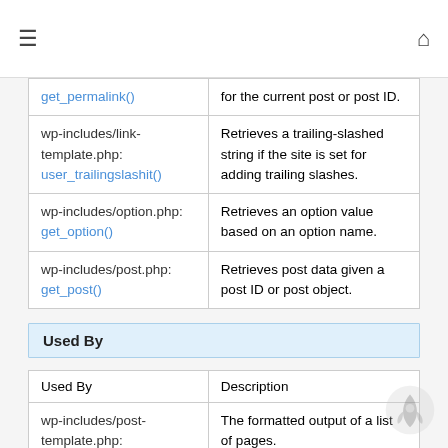≡  🏠
| wp-includes/link-template.php:
get_permalink() | for the current post or post ID. |
| wp-includes/link-template.php:
user_trailingslashit() | Retrieves a trailing-slashed string if the site is set for adding trailing slashes. |
| wp-includes/option.php:
get_option() | Retrieves an option value based on an option name. |
| wp-includes/post.php:
get_post() | Retrieves post data given a post ID or post object. |
Used By
| Used By | Description |
| --- | --- |
| wp-includes/post-template.php:
wp_link_pages() | The formatted output of a list of pages. |